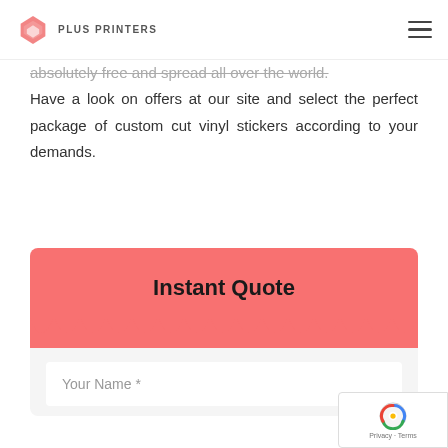PLUS PRINTERS
absolutely free and spread all over the world. Have a look on offers at our site and select the perfect package of custom cut vinyl stickers according to your demands.
Instant Quote
Your Name *